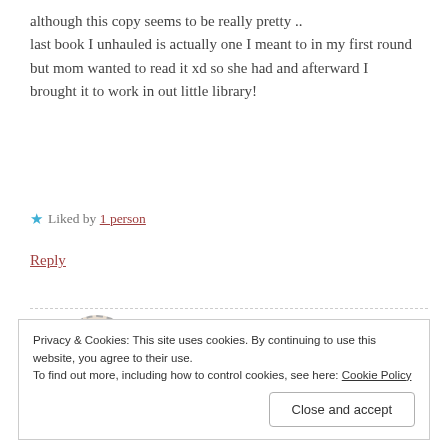although this copy seems to be really pretty .. last book I unhauled is actually one I meant to in my first round but mom wanted to read it xd so she had and afterward I brought it to work in out little library!
★ Liked by 1 person
Reply
bookishluna
NOVEMBER 13, 2019 AT 8:27 PM
Privacy & Cookies: This site uses cookies. By continuing to use this website, you agree to their use. To find out more, including how to control cookies, see here: Cookie Policy
Close and accept